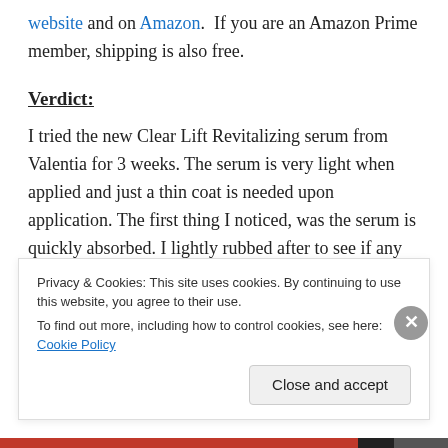website and on Amazon. If you are an Amazon Prime member, shipping is also free.
Verdict:
I tried the new Clear Lift Revitalizing serum from Valentia for 3 weeks. The serum is very light when applied and just a thin coat is needed upon application. The first thing I noticed, was the serum is quickly absorbed. I lightly rubbed after to see if any residue would peel up like with other serums, but no residue was detected. This means I can use the serum before applying my foundation primer
Privacy & Cookies: This site uses cookies. By continuing to use this website, you agree to their use. To find out more, including how to control cookies, see here: Cookie Policy
Close and accept